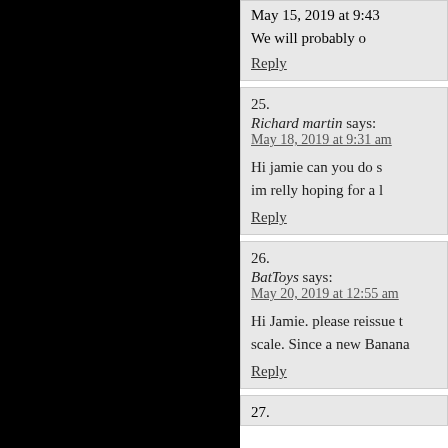May 15, 2019 at 9:43 [am]
We will probably [...]
Reply
25. Richard martin says: May 18, 2019 at 9:31 am
Hi jamie can you do s... im relly hoping for a l...
Reply
26. BatToys says: May 20, 2019 at 12:55 am
Hi Jamie. please reissue t... scale. Since a new Banana...
Reply
27.